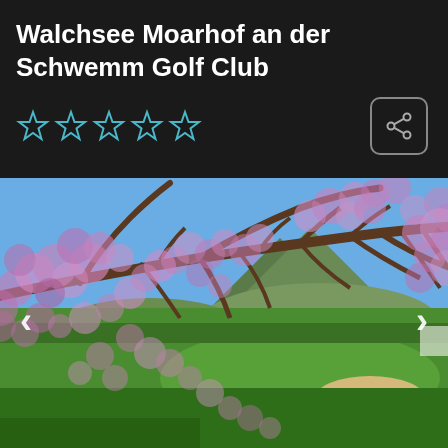Walchsee Moarhof an der Schwemm Golf Club
[Figure (other): Five outline stars (rating) in cyan/blue color on dark background, with a share icon button on the right]
[Figure (photo): Outdoor photo of a golf course with blooming cherry/plum blossom tree branches with pink-purple flowers in foreground, green fairway and sand bunker in background, mountain and blue sky visible, left and right navigation arrows]